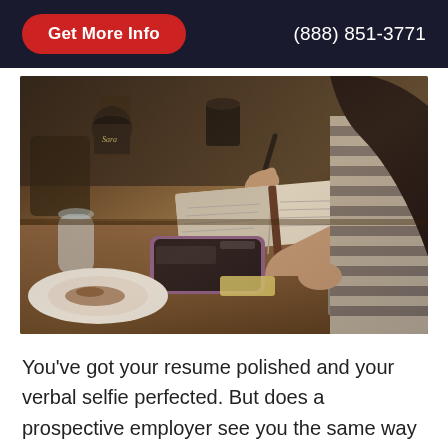Get More Info | (888) 851-3771
[Figure (photo): A woman wearing a striped long-sleeve shirt sits at a wooden café table, writing in an open notebook. A smartphone, Starbucks cup, glass, white plate with food remnants, and a packet are visible on the table. A laptop is partially visible near the woman.]
You've got your resume polished and your verbal selfie perfected. But does a prospective employer see you the same way you see yourself? Is the person sitting across from you [...]